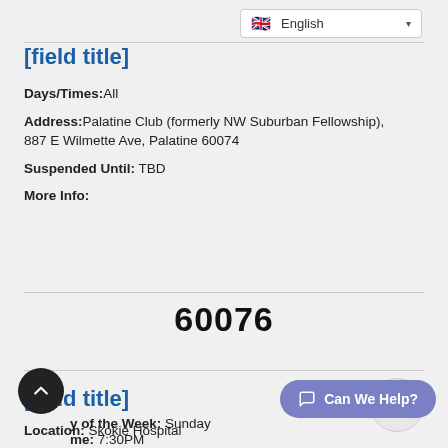English (language selector)
[field title]
Days/Times: All
Address: Palatine Club (formerly NW Suburban Fellowship), 887 E Wilmette Ave, Palatine 60074
Suspended Until: TBD
More Info:
60076
[field title]
Day of the Week: Sunday
Time: 7:30PM
Location: Skokie Hospital